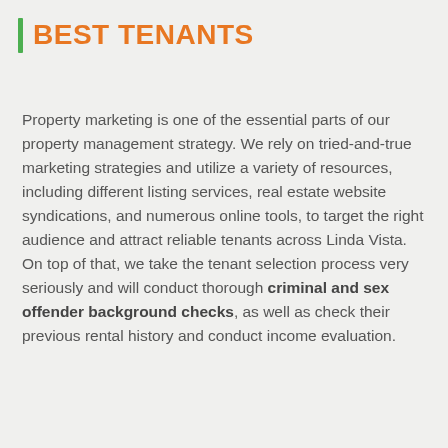BEST TENANTS
Property marketing is one of the essential parts of our property management strategy. We rely on tried-and-true marketing strategies and utilize a variety of resources, including different listing services, real estate website syndications, and numerous online tools, to target the right audience and attract reliable tenants across Linda Vista. On top of that, we take the tenant selection process very seriously and will conduct thorough criminal and sex offender background checks, as well as check their previous rental history and conduct income evaluation.